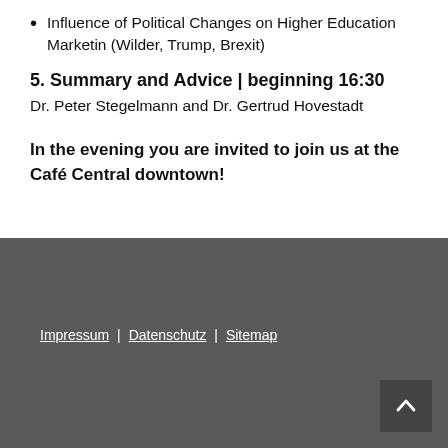Influence of Political Changes on Higher Education Marketin (Wilder, Trump, Brexit)
5. Summary and Advice | beginning 16:30
Dr. Peter Stegelmann and Dr. Gertrud Hovestadt
In the evening you are invited to join us at the Café Central downtown!
Impressum | Datenschutz | Sitemap